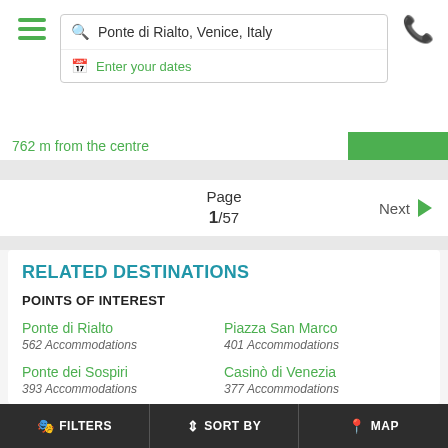Ponte di Rialto, Venice, Italy
Enter your dates
762 m from the centre
Page 1/57
Next
RELATED DESTINATIONS
POINTS OF INTEREST
Ponte di Rialto
562 Accommodations
Piazza San Marco
401 Accommodations
Ponte dei Sospiri
393 Accommodations
Casinò di Venezia
377 Accommodations
Collezione Peggy Guggenheim
259 Accommodations
Gallerie dell'Accademia
255 Accommodations
L'Arsenale
Giardini della Biennale
FILTERS | SORT BY | MAP